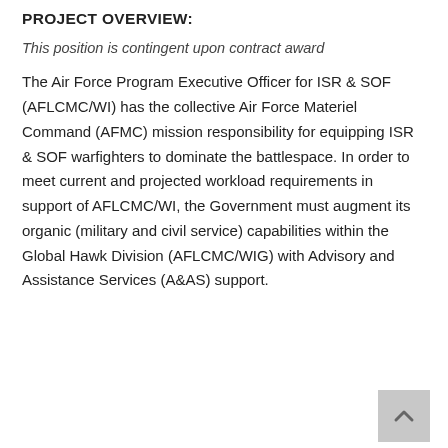PROJECT OVERVIEW:
This position is contingent upon contract award
The Air Force Program Executive Officer for ISR & SOF (AFLCMC/WI) has the collective Air Force Materiel Command (AFMC) mission responsibility for equipping ISR & SOF warfighters to dominate the battlespace. In order to meet current and projected workload requirements in support of AFLCMC/WI, the Government must augment its organic (military and civil service) capabilities within the Global Hawk Division (AFLCMC/WIG) with Advisory and Assistance Services (A&AS) support.